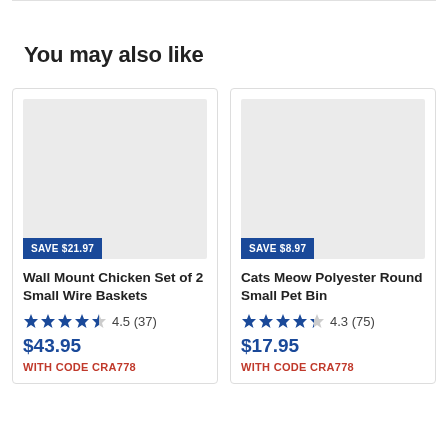You may also like
[Figure (other): Product card for Wall Mount Chicken Set of 2 Small Wire Baskets. Gray placeholder image with SAVE $21.97 badge. Rating 4.5 (37). Price $43.95. Promo: WITH CODE CRA778.]
[Figure (other): Product card for Cats Meow Polyester Round Small Pet Bin. Gray placeholder image with SAVE $8.97 badge. Rating 4.3 (75). Price $17.95. Promo: WITH CODE CRA778.]